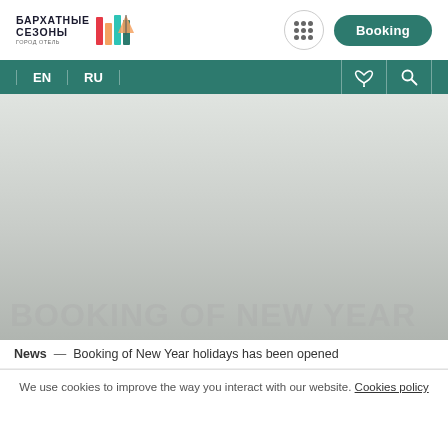[Figure (logo): Бархатные Сезоны hotel brand logo with colorful sailboat/building icon]
[Figure (other): Grid/menu button (9-dot icon in circle)]
Booking
EN  RU  (phone icon)  (search icon)
[Figure (photo): Hero image area - grey/muted background representing hotel or resort imagery]
News  —  Booking of New Year holidays has been opened
BOOKING OF NEW YEAR
We use cookies to improve the way you interact with our website. Cookies policy